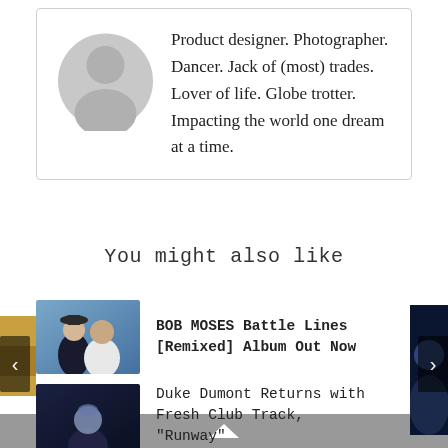[Figure (illustration): Grey circular avatar/profile placeholder icon (silhouette of a person)]
Product designer. Photographer. Dancer. Jack of (most) trades. Lover of life. Globe trotter. Impacting the world one dream at a time.
You might also like
[Figure (photo): Thumbnail photo of Bob Moses artists (two people, one wearing a hat)]
BOB MOSES Battle Lines [Remixed] Album Out Now
[Figure (photo): Thumbnail photo for Duke Dumont article (dark/blue toned figure)]
Duke Dumont Returns with Fresh Club Track, "Runway"